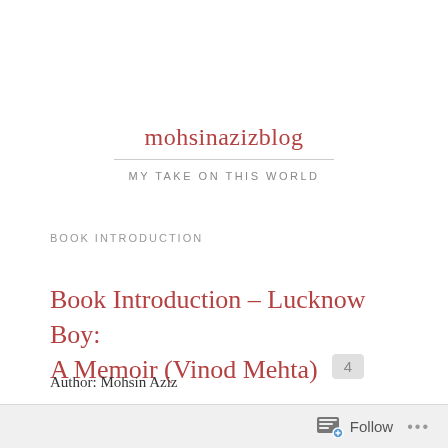mohsinazizblog
MY TAKE ON THIS WORLD
BOOK INTRODUCTION
Book Introduction – Lucknow Boy: A Memoir (Vinod Mehta)
Author: Mohsin Aziz
Just finished reading the autobiography – Lucknow Boy: A